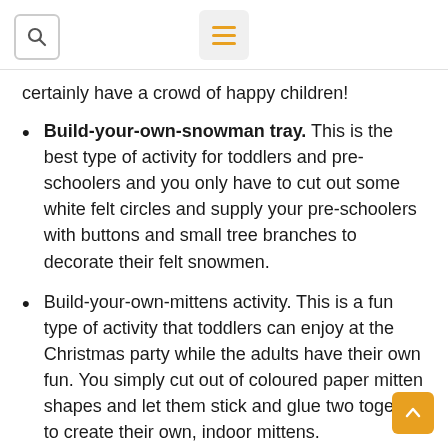[search icon] [menu icon]
certainly have a crowd of happy children!
Build-your-own-snowman tray. This is the best type of activity for toddlers and pre-schoolers and you only have to cut out some white felt circles and supply your pre-schoolers with buttons and small tree branches to decorate their felt snowmen.
Build-your-own-mittens activity. This is a fun type of activity that toddlers can enjoy at the Christmas party while the adults have their own fun. You simply cut out of coloured paper mitten shapes and let them stick and glue two together to create their own, indoor mittens.
Christmas cookie playdough. This activity idea wi...